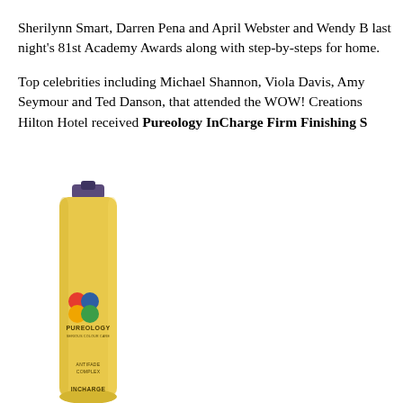Sherilynn Smart, Darren Pena and April Webster and Wendy B... last night's 81st Academy Awards along with step-by-steps for home.
Top celebrities including Michael Shannon, Viola Davis, Amy Seymour and Ted Danson, that attended the WOW! Creations Hilton Hotel received Pureology InCharge Firm Finishing S...
[Figure (photo): A tall yellow aerosol spray can of Pureology InCharge Firm Finishing Spray with a purple cap, showing the Pureology logo with colorful circles, and text including ANTIFADE COMPLEX and INCHARGE on the label.]